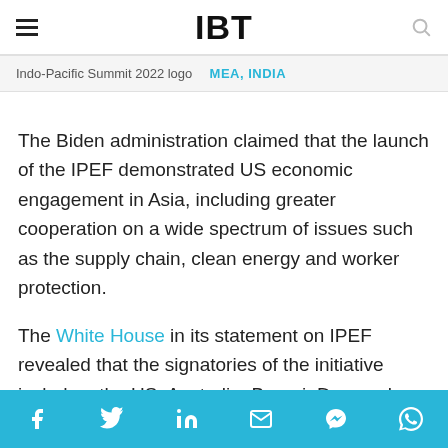IBT
Indo-Pacific Summit 2022 logo   MEA, INDIA
The Biden administration claimed that the launch of the IPEF demonstrated US economic engagement in Asia, including greater cooperation on a wide spectrum of issues such as the supply chain, clean energy and worker protection.
The White House in its statement on IPEF revealed that the signatories of the initiative include – the US, Australia, Brunei, Daressalam, India, Indonesia, Japan, Republic of Korea
Social share bar: Facebook, Twitter, LinkedIn, Email, Messenger, WhatsApp